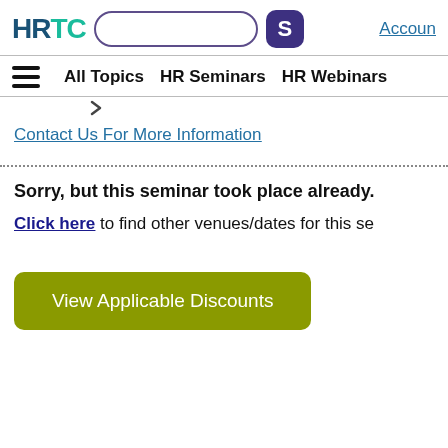HRTC [search box] [S button] Account
All Topics   HR Seminars   HR Webinars
Contact Us For More Information
Sorry, but this seminar took place already.
Click here to find other venues/dates for this se…
View Applicable Discounts